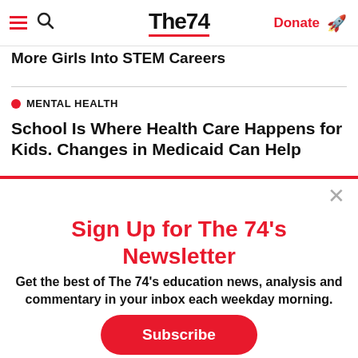The74 — Donate
More Girls Into STEM Careers
MENTAL HEALTH
School Is Where Health Care Happens for Kids. Changes in Medicaid Can Help
Sign Up for The 74's Newsletter
Get the best of The 74's education news, analysis and commentary in your inbox each weekday morning.
Subscribe